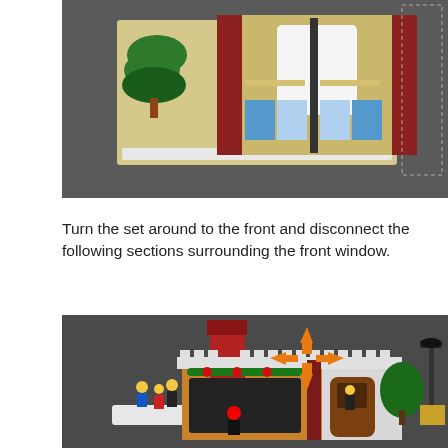[Figure (photo): Top-down view of a LEGO winter building set (bakery/shop) showing the roof and interior layout, with green LEGO trees on the left side, on a dark gray surface.]
Turn the set around to the front and disconnect the following sections surrounding the front window.
[Figure (photo): Front view of a LEGO winter village set featuring a bakery/shop with LEGO minifigures, a Christmas tree, a lamp post, decorated window with wreath and red baubles, a brown door, and orange disconnect/direction arrows overlaid on the upper portion of the image indicating sections to remove.]